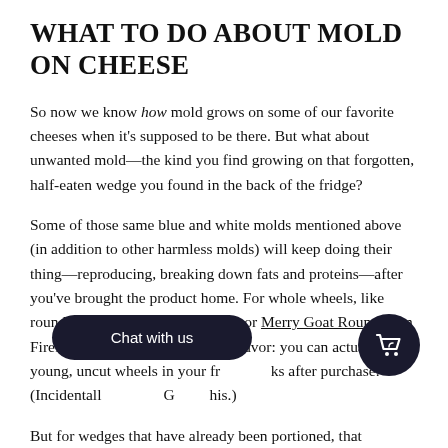WHAT TO DO ABOUT MOLD ON CHEESE
So now we know how mold grows on some of our favorite cheeses when it's supposed to be there. But what about unwanted mold—the kind you find growing on that forgotten, half-eaten wedge you found in the back of the fridge?
Some of those same blue and white molds mentioned above (in addition to other harmless molds) will keep doing their thing—reproducing, breaking down fats and proteins—after you've brought the product home. For whole wheels, like rounds of Nettle Meadow's Kunik or Merry Goat Round from Firefly Farms, this works in your favor: you can actually age young, uncut wheels in your fr... ks after purchase. (Incidentall... G... his.)
But for wedges that have already been portioned, that